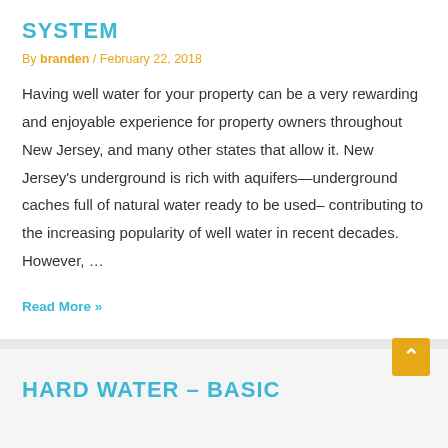SYSTEM
By branden / February 22, 2018
Having well water for your property can be a very rewarding and enjoyable experience for property owners throughout New Jersey, and many other states that allow it. New Jersey's underground is rich with aquifers—underground caches full of natural water ready to be used– contributing to the increasing popularity of well water in recent decades. However, …
Read More »
HARD WATER – BASIC